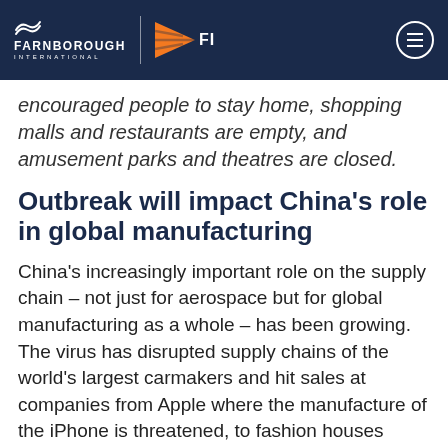FARNBOROUGH INTERNATIONAL | FINN
encouraged people to stay home, shopping malls and restaurants are empty, and amusement parks and theatres are closed.
Outbreak will impact China's role in global manufacturing
China's increasingly important role on the supply chain – not just for aerospace but for global manufacturing as a whole – has been growing. The virus has disrupted supply chains of the world's largest carmakers and hit sales at companies from Apple where the manufacture of the iPhone is threatened, to fashion houses Burberry and Nike.
A new Dun & Bradstreet study estimates that 163 of the Fortune 1000 have tier 1 suppliers, those